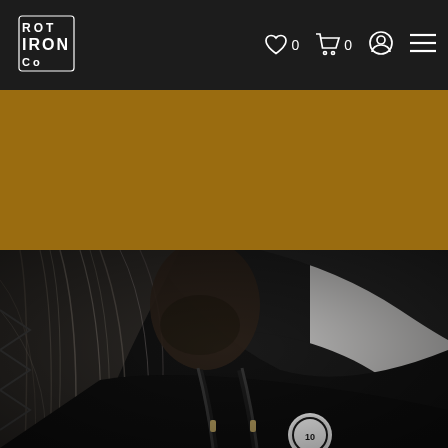[Figure (logo): Rot Iron Co logo in white text on dark background, top left of navigation bar]
[Figure (other): Navigation bar with heart/wishlist icon showing 0, cart icon showing 0, user account icon, and hamburger menu icon on dark background]
[Figure (other): Golden/amber colored horizontal banner below navigation bar]
[Figure (photo): Close-up photo of a person with long grey hair wearing a black hoodie with drawstrings visible and a circular badge/pin on the chest, dark moody lighting]